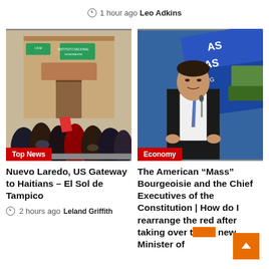1 hour ago  Leo Adkins
[Figure (photo): Crowd of people outside a building with INM signage; Top News badge]
[Figure (photo): Man in suit speaking at podium in front of blue screens with text; Economy badge]
Nuevo Laredo, US Gateway to Haitians – El Sol de Tampico
2 hours ago  Leland Griffith
The American "Mass" Bourgeoisie and the Chief Executives of the Constitution | How do I rearrange the red after taking over the new Minister of